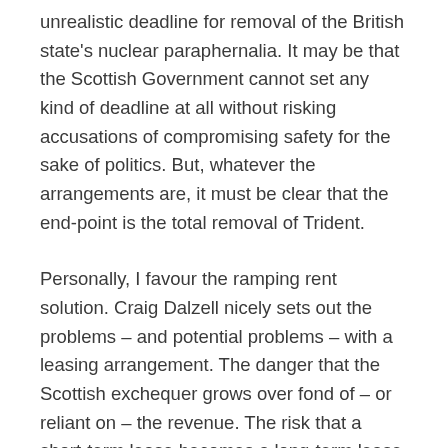unrealistic deadline for removal of the British state's nuclear paraphernalia. It may be that the Scottish Government cannot set any kind of deadline at all without risking accusations of compromising safety for the sake of politics. But, whatever the arrangements are, it must be clear that the end-point is the total removal of Trident.
Personally, I favour the ramping rent solution. Craig Dalzell nicely sets out the problems – and potential problems – with a leasing arrangement. The danger that the Scottish exchequer grows over fond of – or reliant on – the revenue. The risk that a short-term lease becomes a long-term lease and then a rolling lease. I believe these issues can be overcome by making the lease increasingly expensive for the British state so as to make it all but